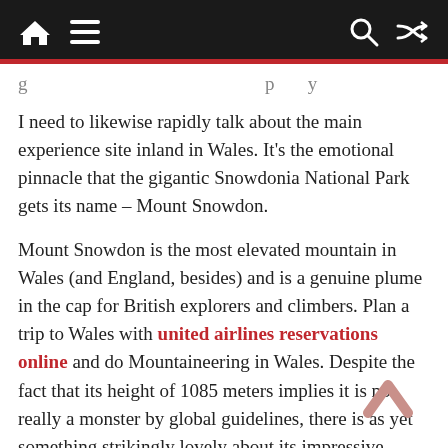[navigation bar with home, menu, search, and shuffle icons]
g … p y
I need to likewise rapidly talk about the main experience site inland in Wales. It's the emotional pinnacle that the gigantic Snowdonia National Park gets its name – Mount Snowdon.
Mount Snowdon is the most elevated mountain in Wales (and England, besides) and is a genuine plume in the cap for British explorers and climbers. Plan a trip to Wales with united airlines reservations online and do Mountaineering in Wales. Despite the fact that its height of 1085 meters implies it is not really a monster by global guidelines, there is as yet something strikingly lovely about its impressive presence.
Presently, I need to concede that I didn't ascend